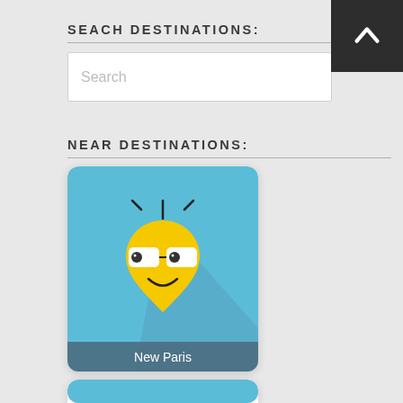SEACH DESTINATIONS:
Search
NEAR DESTINATIONS:
[Figure (illustration): App card showing a yellow bee-like mascot character with glasses and a smile on a blue background, labeled 'New Paris']
[Figure (illustration): Second app card showing the same yellow bee-like mascot character with glasses on a blue background, partially visible]